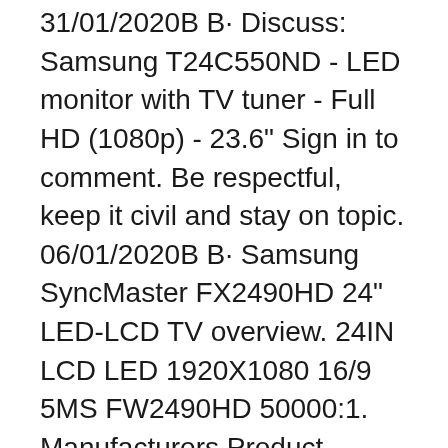31/01/2020B B· Discuss: Samsung T24C550ND - LED monitor with TV tuner - Full HD (1080p) - 23.6" Sign in to comment. Be respectful, keep it civil and stay on topic. 06/01/2020B B· Samsung SyncMaster FX2490HD 24" LED-LCD TV overview. 24IN LCD LED 1920X1080 16/9 5MS FW2490HD 50000:1. Manufacturers Product Description. This Samsung HDTV monitor flaunts head-to-stand style with a chrome-coated, mystic brown finish and Touch of Colour's design.
Samsung's Description: The Samsung SyncMasterв„ў 320P is a brilliant high-end 32" LCD display for corporate marketplaces. With variable aspect ratios the 320P shines everywhere from boardroom videoconferencing